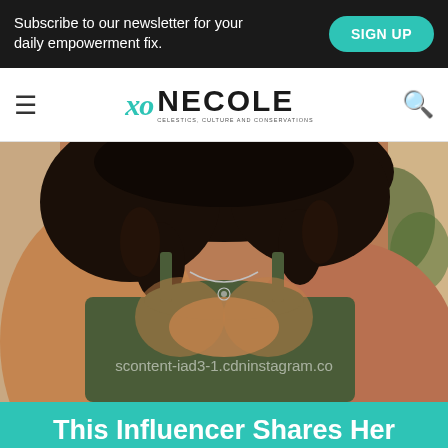Subscribe to our newsletter for your daily empowerment fix.  SIGN UP
[Figure (logo): XO Necole logo with hamburger menu on left and search icon on right]
[Figure (photo): Woman with curly hair wearing a green crop top and necklace, partial face, with watermark text 'scontent-iad3-1.cdninstagram.co']
This Influencer Shares Her